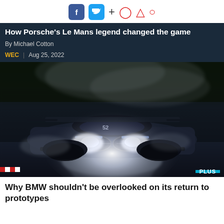Social icons and action buttons header
How Porsche's Le Mans legend changed the game
By Michael Cotton
WEC | Aug 25, 2022
[Figure (photo): A prototype racing car (BMW LMDh) driving in wet conditions at night/low light, with headlights on and water spray visible. PLUS badge in bottom-right corner.]
Why BMW shouldn't be overlooked on its return to prototypes